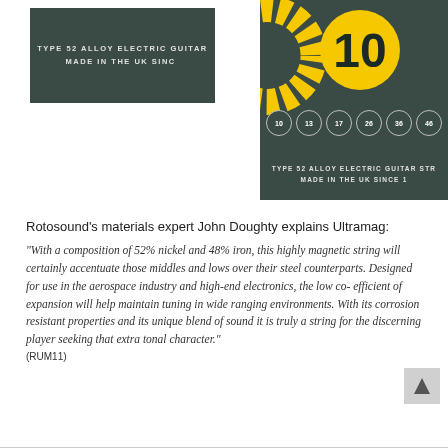[Figure (photo): Product packaging for Rotosound Ultramag Type 52 Alloy Electric Guitar Strings. Two overlapping cards on dark teal/green background. Left card shows partial text 'TYPE 52 ALLOY ELECTRIC GUITAR' and 'MADE IN THE UK SINCE'. Right card (main) shows large yellow number '10' in a circle, gauge circles labeled 10, 13, 17, 26, 36, 46, and text 'TYPE 52 ALLOY ELECTRIC GUITAR STR' and 'MADE IN THE UK SINCE 1'.]
Rotosound's materials expert John Doughty explains Ultramag:
"With a composition of 52% nickel and 48% iron, this highly magnetic string will certainly accentuate those middles and lows over their steel counterparts. Designed for use in the aerospace industry and high-end electronics, the low co-efficient of expansion will help maintain tuning in wide ranging environments. With its corrosion resistant properties and its unique blend of sound it is truly a string for the discerning player seeking that extra tonal character."
(RUM11)